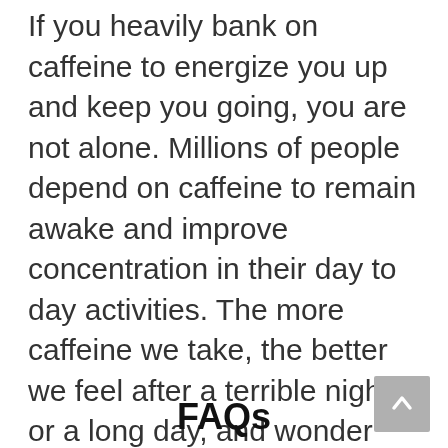If you heavily bank on caffeine to energize you up and keep you going, you are not alone. Millions of people depend on caffeine to remain awake and improve concentration in their day to day activities. The more caffeine we take, the better we feel after a terrible night or a long day, and wonder how much caffeine in a shot of Espresso do we get? But, taking heavy amounts of caffeine all day long or near bedtime could also cause problems.
FAQs